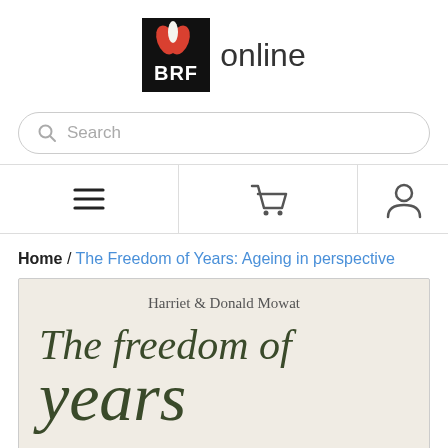[Figure (logo): BRF online logo — black square with red and white leaf icons above 'BRF' text, followed by 'online' in light grey]
[Figure (screenshot): Search bar with magnifying glass icon and placeholder text 'Search']
[Figure (screenshot): Navigation bar with hamburger menu, shopping cart, and user account icons]
Home / The Freedom of Years: Ageing in perspective
[Figure (illustration): Book cover for 'The freedom of years' by Harriet & Donald Mowat — cream/linen textured background with dark olive green cursive title text]